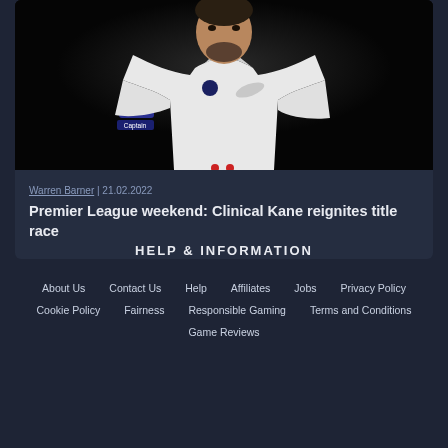[Figure (photo): A footballer wearing a white Tottenham Hotspur shirt with 'cinch' sponsor and 'Captain' armband, photographed against a dark background]
Warren Barner | 21.02.2022
Premier League weekend: Clinical Kane reignites title race
HELP & INFORMATION
About Us
Contact Us
Help
Affiliates
Jobs
Privacy Policy
Cookie Policy
Fairness
Responsible Gaming
Terms and Conditions
Game Reviews